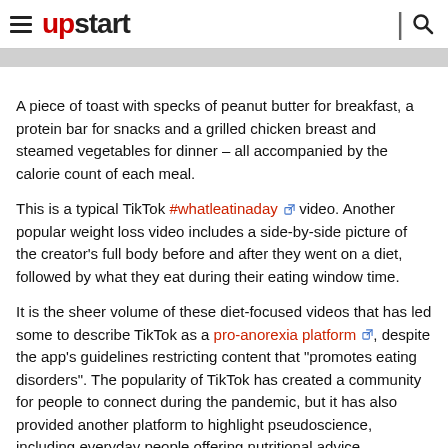upstart
A piece of toast with specks of peanut butter for breakfast, a protein bar for snacks and a grilled chicken breast and steamed vegetables for dinner – all accompanied by the calorie count of each meal.
This is a typical TikTok #whatleatinaday video. Another popular weight loss video includes a side-by-side picture of the creator's full body before and after they went on a diet, followed by what they eat during their eating window time.
It is the sheer volume of these diet-focused videos that has led some to describe TikTok as a pro-anorexia platform, despite the app's guidelines restricting content that "promotes eating disorders". The popularity of TikTok has created a community for people to connect during the pandemic, but it has also provided another platform to highlight pseudoscience, including everyday people offering nutritional advice.
In response to claims of the platform glorifying eating disorders